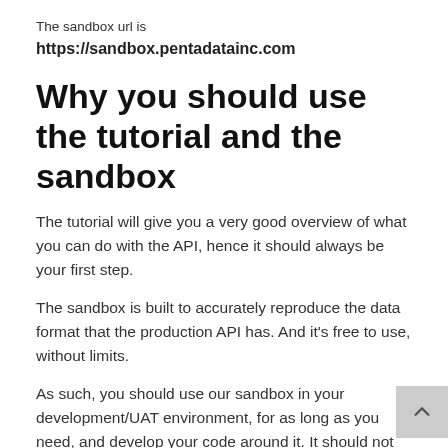The sandbox url is
https://sandbox.pentadatainc.com
Why you should use the tutorial and the sandbox
The tutorial will give you a very good overview of what you can do with the API, hence it should always be your first step.
The sandbox is built to accurately reproduce the data format that the production API has. And it's free to use, without limits.
As such, you should use our sandbox in your development/UAT environment, for as long as you need, and develop your code around it. It should not take very long, as the API is simple and